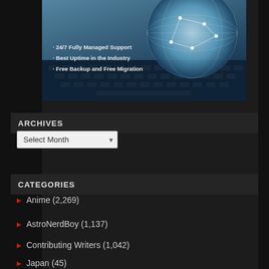[Figure (photo): Banner image showing a digital globe with network connections over a keyboard background, with text listing hosting features: 24/7 Fully Managed Support, Best Uptime in the Industry, Free Backup and Free Migration]
ARCHIVES
Select Month
CATEGORIES
Anime (2,269)
AstroNerdBoy (1,137)
Contributing Writers (1,042)
Japan (45)